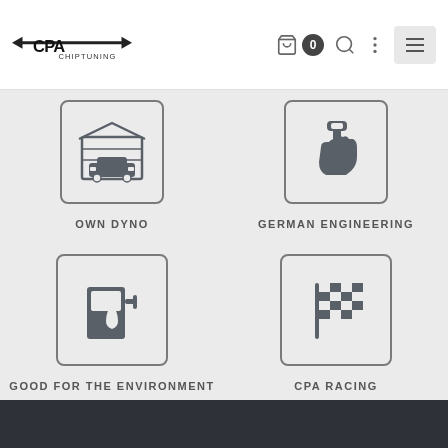[Figure (logo): CPA Chiptuning logo with arrows and text]
[Figure (infographic): Four feature icons: Own Dyno (car in garage), German Engineering (hand with wrench), Good for the Environment (fuel pump), CPA Racing (checkered racing flag)]
OWN DYNO
GERMAN ENGINEERING
GOOD FOR THE ENVIRONMENT
CPA RACING